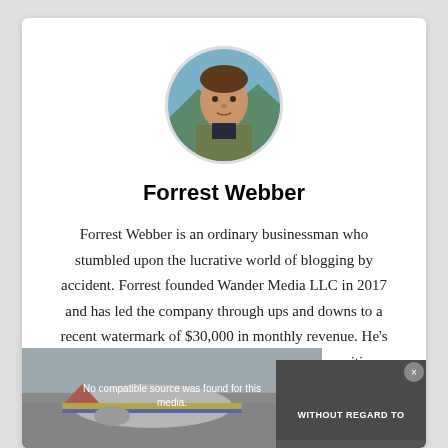[Figure (photo): Circular profile photo of Forrest Webber, a man outdoors with water/mountains in background, wearing a jacket]
Forrest Webber
Forrest Webber is an ordinary businessman who stumbled upon the lucrative world of blogging by accident. Forrest founded Wander Media LLC in 2017 and has led the company through ups and downs to a recent watermark of $30,000 in monthly revenue. He’s most passionate about imagination and the positive futures it can create.
[Figure (photo): Partially visible airplane photo at bottom of page, overlaid with a video player showing 'No compatible source was found for this media.' message and an advertisement overlay reading 'WITHOUT REGARD TO']